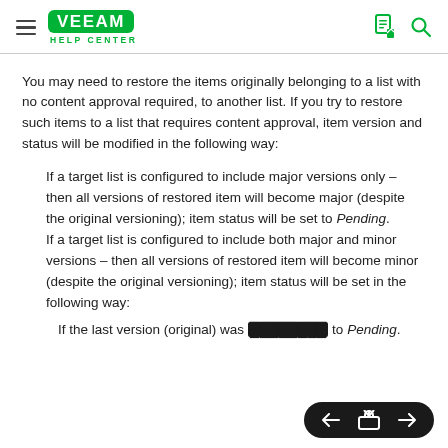Veeam Help Center
You may need to restore the items originally belonging to a list with no content approval required, to another list. If you try to restore such items to a list that requires content approval, item version and status will be modified in the following way:
If a target list is configured to include major versions only – then all versions of restored item will become major (despite the original versioning); item status will be set to Pending.
If a target list is configured to include both major and minor versions – then all versions of restored item will become minor (despite the original versioning); item status will be set in the following way:
If the last version (original) was [obscured] to Pending.